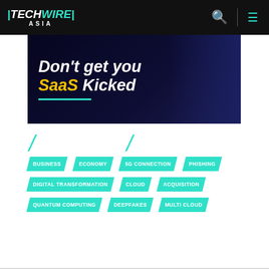TECHWIRE ASIA
[Figure (illustration): Dark blue background banner ad with text: Don't get your SaaS Kicked, with 'SaaS' in yellow and a teal underline]
/ /
BUSINESS
ECONOMY
5G CONNECTION
PHISHING
DIGITAL TRANSFORMATION
CLOUD
ACQUISITION
QUANTUM COMPUTING
DEEPFAKES
MULTI CLOUD